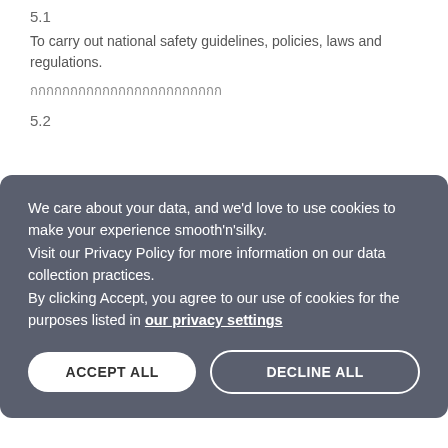5.1
To carry out national safety guidelines, policies, laws and regulations.
กกกกกกกกกกกกกกกกกกกกกกกก
5.2
We care about your data, and we'd love to use cookies to make your experience smooth'n'silky.
Visit our Privacy Policy for more information on our data collection practices.
By clicking Accept, you agree to our use of cookies for the purposes listed in our privacy settings
he